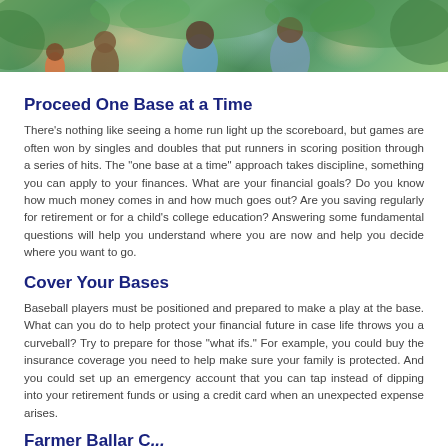[Figure (photo): Family photo at the top of the page showing adults and children outdoors with green foliage in the background]
Proceed One Base at a Time
There's nothing like seeing a home run light up the scoreboard, but games are often won by singles and doubles that put runners in scoring position through a series of hits. The "one base at a time" approach takes discipline, something you can apply to your finances. What are your financial goals? Do you know how much money comes in and how much goes out? Are you saving regularly for retirement or for a child's college education? Answering some fundamental questions will help you understand where you are now and help you decide where you want to go.
Cover Your Bases
Baseball players must be positioned and prepared to make a play at the base. What can you do to help protect your financial future in case life throws you a curveball? Try to prepare for those "what ifs." For example, you could buy the insurance coverage you need to help make sure your family is protected. And you could set up an emergency account that you can tap instead of dipping into your retirement funds or using a credit card when an unexpected expense arises.
Farmer Ballar C...